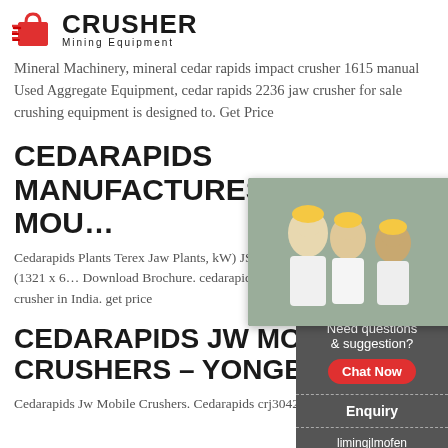[Figure (logo): Crusher Mining Equipment logo with shopping bag icon]
Mineral Machinery, mineral cedar rapids impact crusher 1615 manual Used Aggregate Equipment, cedar rapids 2236 jaw crusher for sale crushing equipment is designed to. Get Price
CEDARAPIDS MANUFACTURES TRACK MOUNTED
Cedarapids Plants Terex Jaw Plants, kW) JS3750 jaw crusher and 52 x 20' (1321 x 6... Download Brochure. cedarapids 54 x 60 track mounted crusher crusher in India. get price
CEDARAPIDS JW MOBILE CRUSHERS – YONGBAN
Cedarapids Jw Mobile Crushers. Cedarapids crj3042
[Figure (screenshot): Live chat popup overlay with workers image, LIVE CHAT heading, Click for a Free Consultation, Chat now and Chat later buttons]
[Figure (infographic): Right sidebar panel with 24Hrs Online, agent photo, Need questions & suggestion?, Chat Now button, Enquiry, limingjlmofen@sina.com]